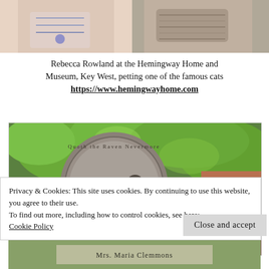[Figure (photo): Top portion of photo showing two people, one in pink with blue embroidery, one with a knit scarf, at the Hemingway Home and Museum]
Rebecca Rowland at the Hemingway Home and Museum, Key West, petting one of the famous cats
https://www.hemingwayhome.com
[Figure (photo): Stone medallion plaque with a bird (crow/raven) engraving and text reading 'ORIGINAL BURIAL PLACE', surrounded by green trees]
Privacy & Cookies: This site uses cookies. By continuing to use this website, you agree to their use.
To find out more, including how to control cookies, see here:
Cookie Policy
[Figure (photo): Bottom portion showing a gravestone or marker with text 'MRS. MARIA CLEMMONS' visible]